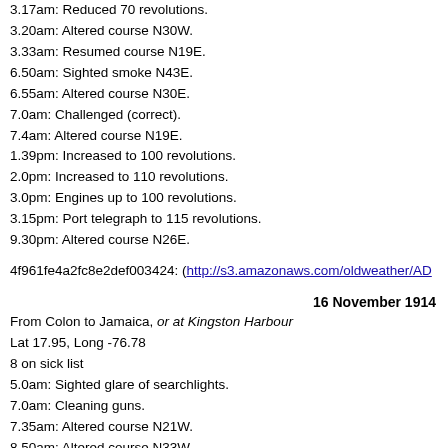3.17am: Reduced 70 revolutions.
3.20am: Altered course N30W.
3.33am: Resumed course N19E.
6.50am: Sighted smoke N43E.
6.55am: Altered course N30E.
7.0am: Challenged (correct).
7.4am: Altered course N19E.
1.39pm: Increased to 100 revolutions.
2.0pm: Increased to 110 revolutions.
3.0pm: Engines up to 100 revolutions.
3.15pm: Port telegraph to 115 revolutions.
9.30pm: Altered course N26E.
4f961fe4a2fc8e2def003424: (http://s3.amazonaws.com/oldweather/AD...
16 November 1914
From Colon to Jamaica, or at Kingston Harbour
Lat 17.95, Long -76.78
8 on sick list
5.0am: Sighted glare of searchlights.
7.0am: Cleaning guns.
7.35am: Altered course N21W.
8.50am: Altered course N33W.
9.15am: Courses as requisite for entering Kingston Harbour.
9.23am: Plum Point Light House: abeam to Starboard. 100 revolutions...
10.5am: Stopped and secured alongside No 3 wharf.
11.26am: Started coaling with native labour.
Noon: Dinner. 2nd part Starboard watch discharging provisions to Lan...
2.10pm: One Private Marine joined ship from Hospital.
2.30pm: Discharged 13 coloured ratings to Lancaster and 7 on shore.